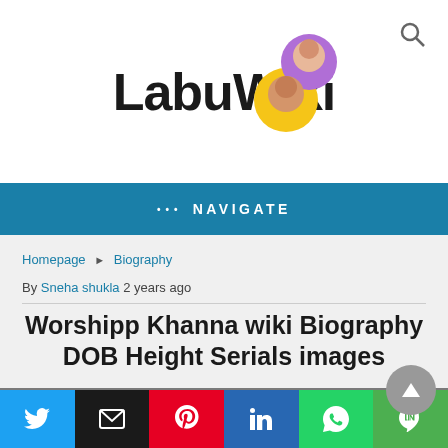LabuWiki
••• NAVIGATE
Homepage ▶ Biography
By Sneha shukla 2 years ago
Worshipp Khanna wiki Biography DOB Height Serials images
[Figure (photo): Top of a person's head with dark hair]
[Figure (infographic): Social share buttons: Twitter, Email, Pinterest, LinkedIn, WhatsApp, Line]